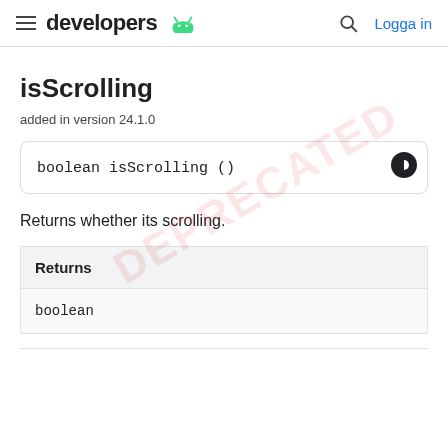developers  Logga in
isScrolling
added in version 24.1.0
boolean isScrolling ()
Returns whether its scrolling.
| Returns |
| --- |
| boolean |